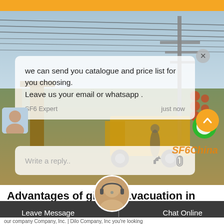[Figure (screenshot): Orange top navigation bar followed by a background photo of electrical substation/power infrastructure with yellow construction vehicles and power transmission towers and wires. Overlaid on the photo is a white semi-transparent chat bubble containing a message from SF6 Expert, an avatar, a reply box, a close button, an SF6China watermark, a chat icon with notification badge, and a scroll-to-top button.]
we can send you catalogue and price list for you choosing.
Leave us your email or whatsapp .
SF6 Expert	just now
Write a reply..
Advantages of gis sf6 Evacuation in Guatemala
Leave Message | Chat Online
our company Company, Inc. | Dilo Company, Inc you're looking